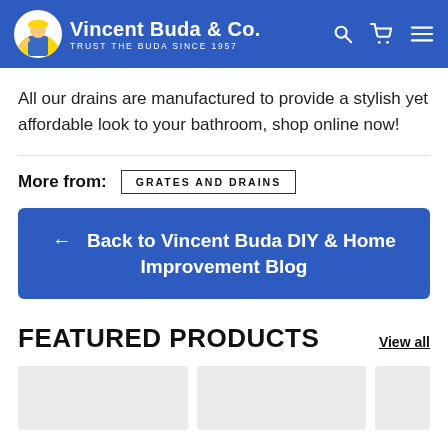Vincent Buda & Co. — TRUST THE BUDA SINCE 1957
All our drains are manufactured to provide a stylish yet affordable look to your bathroom, shop online now!
More from: GRATES AND DRAINS
← Back to Vincent Buda DIY & Home Improvement Blog
FEATURED PRODUCTS
View all
[Figure (other): Three product card placeholders (grey boxes) shown below the Featured Products section]